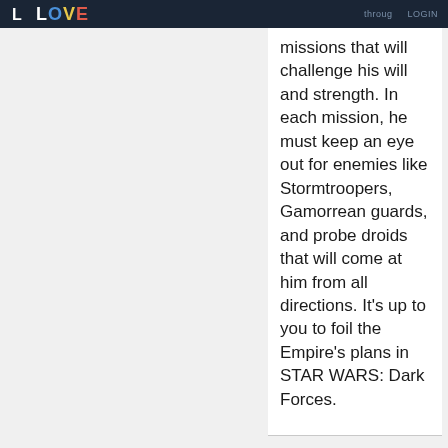LOVE LOGIN
missions that will challenge his will and strength. In each mission, he must keep an eye out for enemies like Stormtroopers, Gamorrean guards, and probe droids that will come at him from all directions. It's up to you to foil the Empire's plans in STAR WARS: Dark Forces.